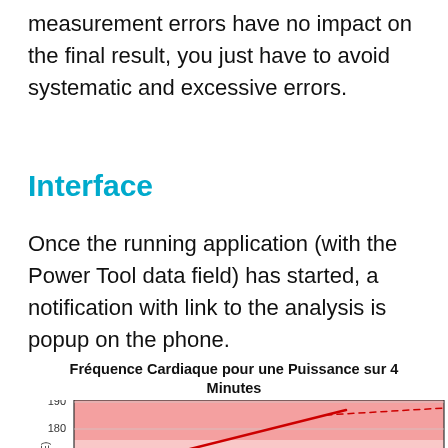measurement errors have no impact on the final result, you just have to avoid systematic and excessive errors.
Interface
Once the running application (with the Power Tool data field) has started, a notification with link to the analysis is popup on the phone.
[Figure (continuous-plot): Heart rate vs power chart showing colored zones (red/pink at top, yellow at bottom) with y-axis labels 170, 180, 190 and a rising red line and dashed trend line.]